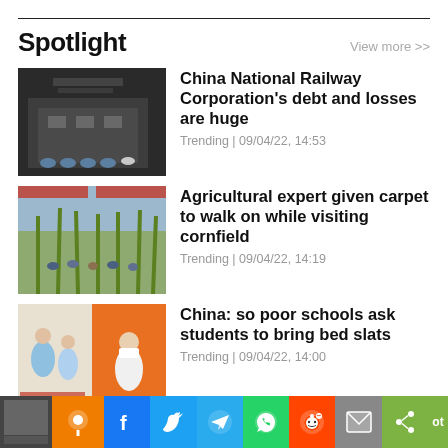Spotlight
View more >>
[Figure (photo): Crowd scene outside a building, people in blue uniforms]
China National Railway Corporation's debt and losses are huge
Trending | 09/04/22, 14:53
[Figure (photo): Group of people walking through a cornfield]
Agricultural expert given carpet to walk on while visiting cornfield
Trending | 09/04/22, 14:19
[Figure (photo): Split image: people at a school and a man with a mask]
China: so poor schools ask students to bring bed slats
Trending | 09/04/22, 14:00
[Figure (screenshot): Social media share bar with icons for various platforms]